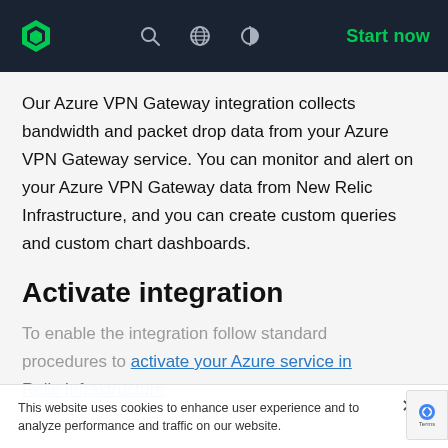New Relic logo | Search | Globe | Theme toggle | Start now
Our Azure VPN Gateway integration collects bandwidth and packet drop data from your Azure VPN Gateway service. You can monitor and alert on your Azure VPN Gateway data from New Relic Infrastructure, and you can create custom queries and custom chart dashboards.
Activate integration
To enable the integration follow standard procedures to activate your Azure service in New Relic Infrastructure.
This website uses cookies to enhance user experience and to analyze performance and traffic on our website.